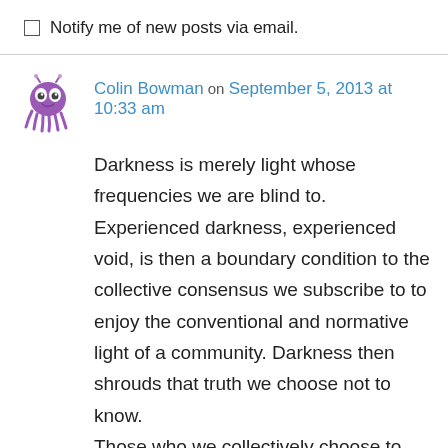Notify me of new posts via email.
Colin Bowman on September 5, 2013 at 10:33 am
Darkness is merely light whose frequencies we are blind to. Experienced darkness, experienced void, is then a boundary condition to the collective consensus we subscribe to to enjoy the conventional and normative light of a community. Darkness then shrouds that truth we choose not to know.
Those who we collectively choose to view as less-abled, stray through the membrane between that darkness and light, because less trammelled by subscription to conventional and normative consensus. Enormous cost the…